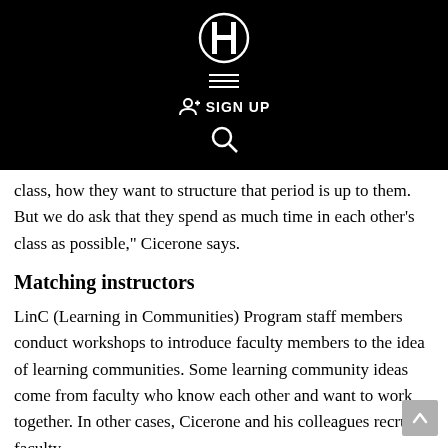FF logo, menu, SIGN UP, search navigation bar
…class, how they want to structure that period is up to them. But we do ask that they spend as much time in each other's class as possible," Cicerone says.
Matching instructors
LinC (Learning in Communities) Program staff members conduct workshops to introduce faculty members to the idea of learning communities. Some learning community ideas come from faculty who know each other and want to work together. In other cases, Cicerone and his colleagues recruit faculty